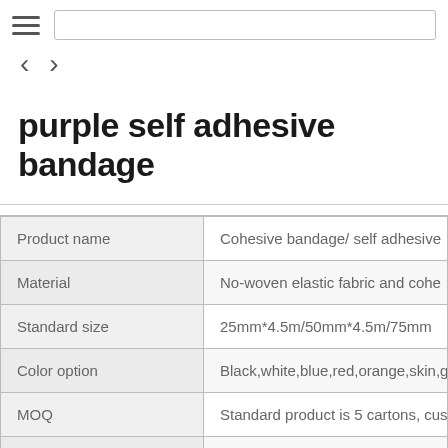≡  [search bar]
< >
purple self adhesive bandage
|  |  |
| --- | --- |
| Product name | Cohesive bandage/ self adhesive |
| Material | No-woven elastic fabric and cohe |
| Standard size | 25mm*4.5m/50mm*4.5m/75mm |
| Color option | Black,white,blue,red,orange,skin,gr |
| MOQ | Standard product is 5 cartons, cus |
|  | Cohesive bandage is a type of b |